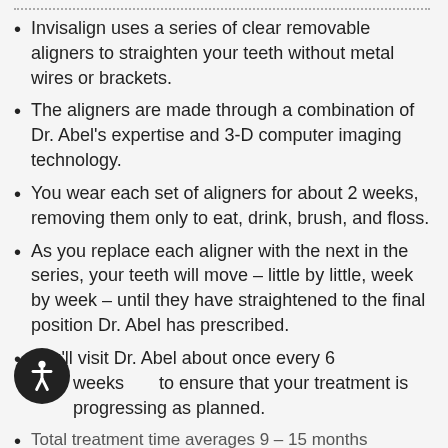Invisalign uses a series of clear removable aligners to straighten your teeth without metal wires or brackets.
The aligners are made through a combination of Dr. Abel's expertise and 3-D computer imaging technology.
You wear each set of aligners for about 2 weeks, removing them only to eat, drink, brush, and floss.
As you replace each aligner with the next in the series, your teeth will move – little by little, week by week – until they have straightened to the final position Dr. Abel has prescribed.
You'll visit Dr. Abel about once every 6 weeks to ensure that your treatment is progressing as planned.
Total treatment time averages 9 – 15 months